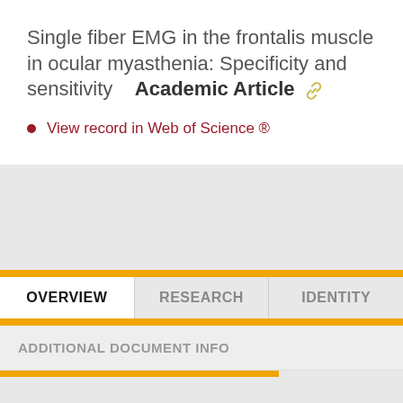Single fiber EMG in the frontalis muscle in ocular myasthenia: Specificity and sensitivity  Academic Article 🔗
View record in Web of Science ®
OVERVIEW
RESEARCH
IDENTITY
ADDITIONAL DOCUMENT INFO